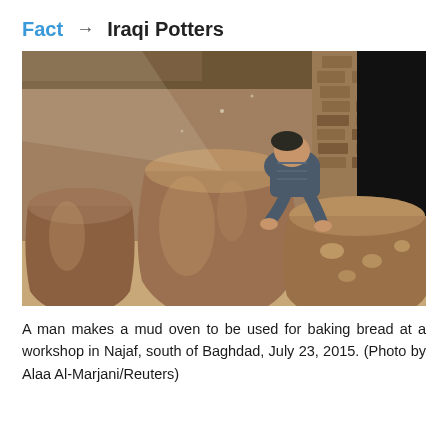Fact → Iraqi Potters
[Figure (photo): A man works on large clay pottery jars/mud ovens in a workshop with mud brick walls. Several large brown clay pots are visible, with the man leaning over one of them. Light filters into the dusty workshop.]
A man makes a mud oven to be used for baking bread at a workshop in Najaf, south of Baghdad, July 23, 2015. (Photo by Alaa Al-Marjani/Reuters)